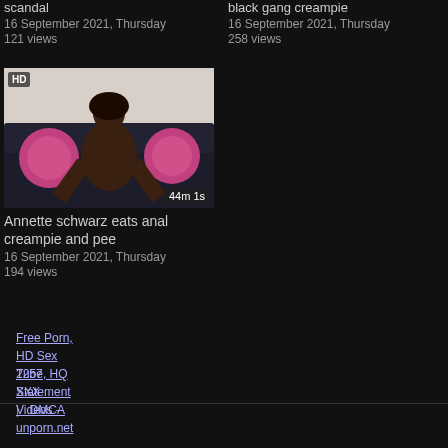scandal
16 September 2021, Thursday
121 views
black gang creampie
16 September 2021, Thursday
258 views
[Figure (screenshot): Video thumbnail showing a person on a black sofa with pink pillows, HD badge top-left, duration 44m 1s bottom-right]
Annette schwarz eats anal creampie and pee
16 September 2021, Thursday
194 views
2257 Statement   DMCA
Free Porn, HD Sex Tube, HQ XXX Videos - unporn.net